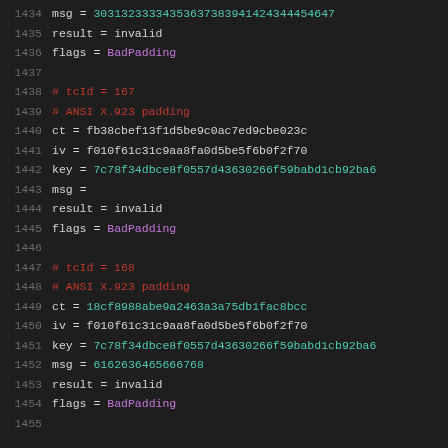1434  msg = 3031323333435363738394142434445464/
1435  result = invalid
1436  flags = BadPadding
1437
1438  # tcId = 167
1439  # ANSI X.923 padding
1440  ct = fb38cbef13f1d5be9c0ac7ed9cbe023c
1441  iv = f010f61c31c9aa8fa0d5be5f6b0f2f70
1442  key = 7c78f34dbce8f0557d43630266f59babd1cb92ba6
1443  msg =
1444  result = invalid
1445  flags = BadPadding
1446
1447  # tcId = 168
1448  # ANSI X.923 padding
1449  ct = 18cf8988abe9a2463a3a75db1fac8bcc
1450  iv = f010f61c31c9aa8fa0d5be5f6b0f2f70
1451  key = 7c78f34dbce8f0557d43630266f59babd1cb92ba6
1452  msg = 6162636465666768
1453  result = invalid
1454  flags = BadPadding
1455